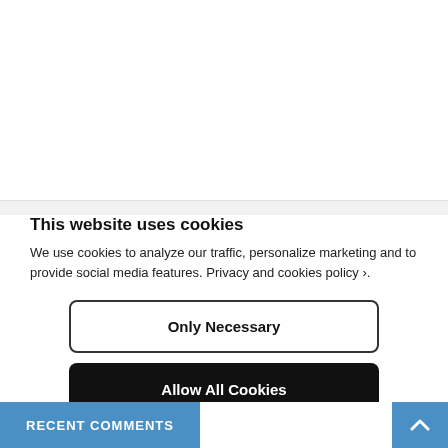This website uses cookies
We use cookies to analyze our traffic, personalize marketing and to provide social media features. Privacy and cookies policy ›.
Only Necessary
Allow All Cookies
Configure Settings ›
RECENT COMMENTS